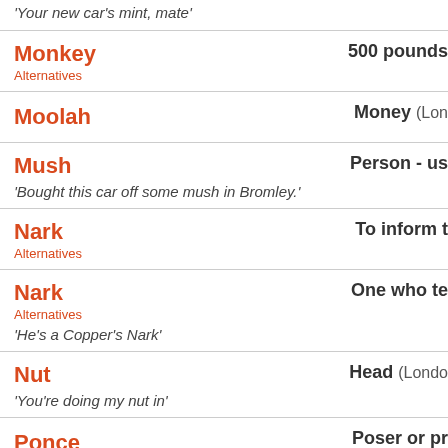'Your new car's mint, mate'
Monkey — 500 pounds
Alternatives
Moolah — Money (Lon...
Mush — Person - us...
'Bought this car off some mush in Bromley.'
Nark — To inform th...
Alternatives
Nark — One who te...
Alternatives
'He's a Copper's Nark'
Nut — Head (Londo...
'You're doing my nut in'
Ponce — Poser or pr...